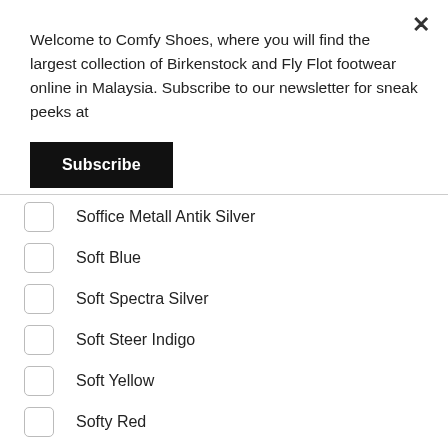Welcome to Comfy Shoes, where you will find the largest collection of Birkenstock and Fly Flot footwear online in Malaysia. Subscribe to our newsletter for sneak peeks at
Subscribe
Soffice Metall Antik Silver
Soft Blue
Soft Spectra Silver
Soft Steer Indigo
Soft Yellow
Softy Red
Softy Yellow WB
Stardust Black
Stardust Stone
Steel Gold